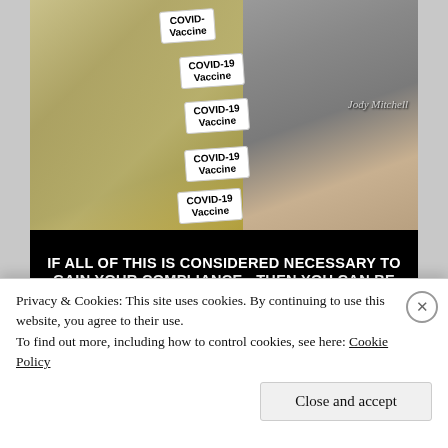[Figure (photo): Photo of multiple COVID-19 Vaccine vials arranged on top of US $100 dollar bills, with text banner at bottom reading: IF ALL OF THIS IS CONSIDERED NECESSARY TO GAIN YOUR COMPLIANCE - THEN YOU CAN BE ABSOLUTELY CERTAIN THAT WHAT IS BEING PROMOTED IS NOT IN YOUR BEST INTEREST. Watermark reads Jody Mitchell.]
Privacy & Cookies: This site uses cookies. By continuing to use this website, you agree to their use.
To find out more, including how to control cookies, see here: Cookie Policy
Close and accept